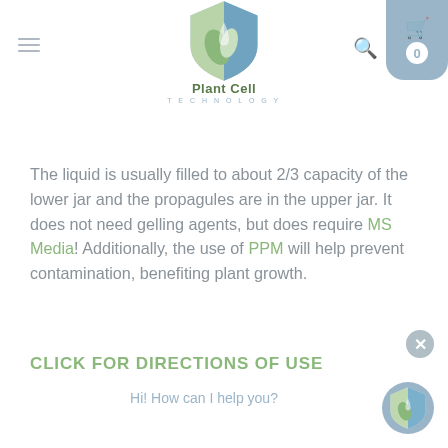[Figure (logo): Plant Cell Technology logo: shield with blue and green sections, leaf, watermark, with text 'Plant Cell TECHNOLOGY' below]
The liquid is usually filled to about 2/3 capacity of the lower jar and the propagules are in the upper jar. It does not need gelling agents, but does require MS Media! Additionally, the use of PPM will help prevent contamination, benefiting plant growth.
CLICK FOR DIRECTIONS OF USE
Hi! How can I help you?